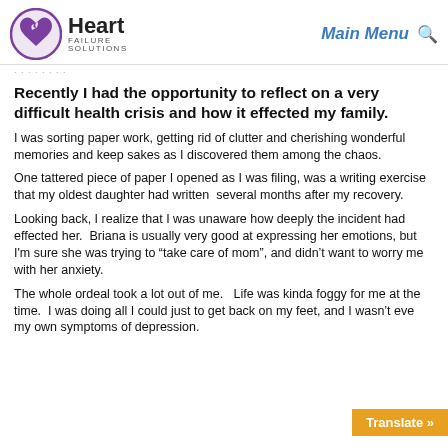Heart Failure Solutions | Main Menu
Recently I had the opportunity to reflect on a very difficult health crisis and how it effected my family.
I was sorting paper work, getting rid of clutter and cherishing wonderful memories and keep sakes as I discovered them among the chaos.
One tattered piece of paper I opened as I was filing, was a writing exercise that my oldest daughter had written  several months after my recovery.
Looking back, I realize that I was unaware how deeply the incident had effected her.  Briana is usually very good at expressing her emotions, but I'm sure she was trying to “take care of mom”, and didn’t want to worry me with her anxiety.
The whole ordeal took a lot out of me.   Life was kinda foggy for me at the time.  I was doing all I could just to get back on my feet, and I wasn’t eve… my own symptoms of depression.